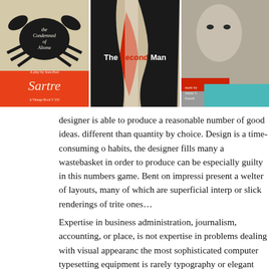[Figure (illustration): Three vintage book covers side by side: left is 'The Condemned of Altona' by Sartre (black crab on tan background with red/orange bottom), center is 'The Second Man' (abstract black, white and red silhouettes), right shows a man's face with partial text 'Prejudice' visible.]
designer is able to produce a reasonable number of good ideas. different than quantity by choice. Design is a time-consuming o habits, the designer fills many a wastebasket in order to produce can be especially guilty in this numbers game. Bent on impressi present a welter of layouts, many of which are superficial interp or slick renderings of trite ones…
Expertise in business administration, journalism, accounting, or place, is not expertise in problems dealing with visual appearanc the most sophisticated computer typesetting equipment is rarely typography or elegant proportions. Actually, the plethora of bad